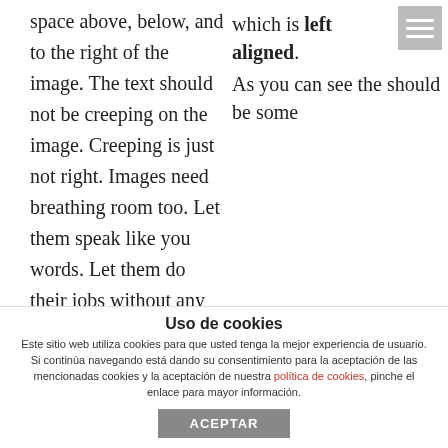which is left aligned.
As you can see the should be some space above, below, and to the right of the image. The text should not be creeping on the image. Creeping is just not right. Images need breathing room too. Let them speak like you words. Let them do their jobs without any hassle from the text. In about one more sentence here, we'll see that the text moves from the right of the image down below the image in seamless transition. Again, letting the do it's thang. Mission accomplished! The text should not be
Uso de cookies
Este sitio web utiliza cookies para que usted tenga la mejor experiencia de usuario. Si continúa navegando está dando su consentimiento para la aceptación de las mencionadas cookies y la aceptación de nuestra política de cookies, pinche el enlace para mayor información.
ACEPTAR